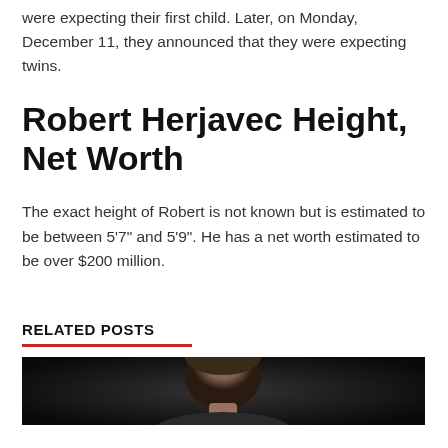were expecting their first child. Later, on Monday, December 11, they announced that they were expecting twins.
Robert Herjavec Height, Net Worth
The exact height of Robert is not known but is estimated to be between 5’7” and 5’9”. He has a net worth estimated to be over $200 million.
RELATED POSTS
[Figure (photo): Photo of a person against a dark background, cropped to show the top of the head and face]